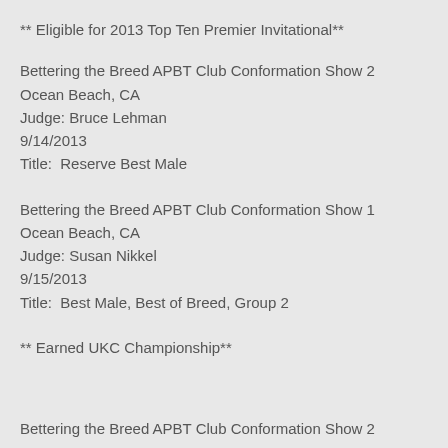** Eligible for 2013 Top Ten Premier Invitational**
Bettering the Breed APBT Club Conformation Show 2
Ocean Beach, CA
Judge: Bruce Lehman
9/14/2013
Title:  Reserve Best Male
Bettering the Breed APBT Club Conformation Show 1
Ocean Beach, CA
Judge: Susan Nikkel
9/15/2013
Title:  Best Male, Best of Breed, Group 2
** Earned UKC Championship**
Bettering the Breed APBT Club Conformation Show 2